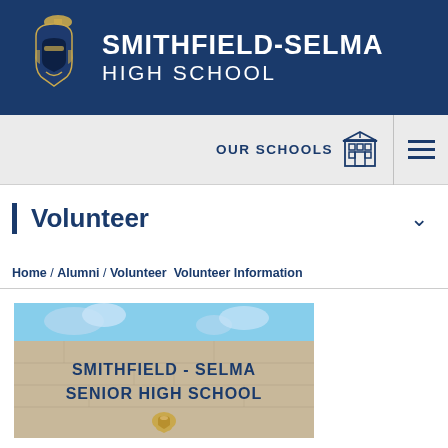SMITHFIELD-SELMA HIGH SCHOOL
OUR SCHOOLS
Volunteer
Home / Alumni / Volunteer  Volunteer Information
[Figure (photo): Stone sign reading SMITHFIELD - SELMA SENIOR HIGH SCHOOL with Spartan helmet emblem, against blue sky]